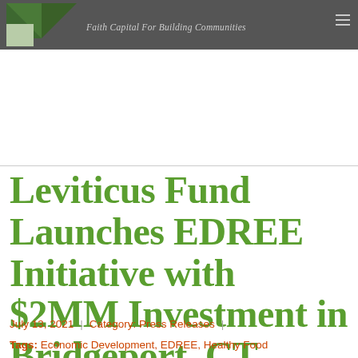Faith Capital For Building Communities
Leviticus Fund Launches EDREE Initiative with $2MM Investment in Bridgeport, CT
July 13, 2021 | Category: Press Releases
Tags: Economic Development, EDREE, Healthy Food